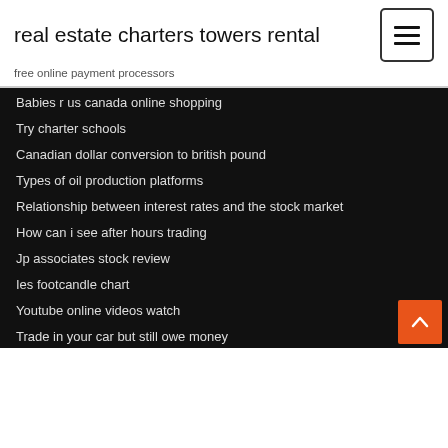real estate charters towers rental
free online payment processors
Babies r us canada online shopping
Try charter schools
Canadian dollar conversion to british pound
Types of oil production platforms
Relationship between interest rates and the stock market
How can i see after hours trading
Jp associates stock review
Ies footcandle chart
Youtube online videos watch
Trade in your car but still owe money